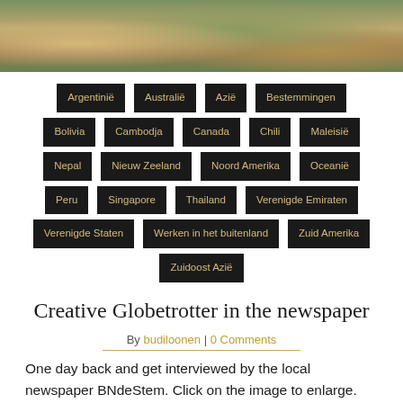[Figure (photo): Photo banner at top showing a natural landscape scene with golden/brown tones, possibly animals or terrain.]
Argentinië
Australië
Azië
Bestemmingen
Bolivia
Cambodja
Canada
Chili
Maleisië
Nepal
Nieuw Zeeland
Noord Amerika
Oceanië
Peru
Singapore
Thailand
Verenigde Emiraten
Verenigde Staten
Werken in het buitenland
Zuid Amerika
Zuidoost Azië
Creative Globetrotter in the newspaper
By budiloonen | 0 Comments
One day back and get interviewed by the local newspaper BNdeStem. Click on the image to enlarge. Als je dit leuk vind check dan ook: Laatste etappe in Azië blog Welkom in Maleisië blog Dubai, Arabische extravagantie Nepal, het dak van de wereld blog Laatste dagen in Nepal blog Cambodja blog De